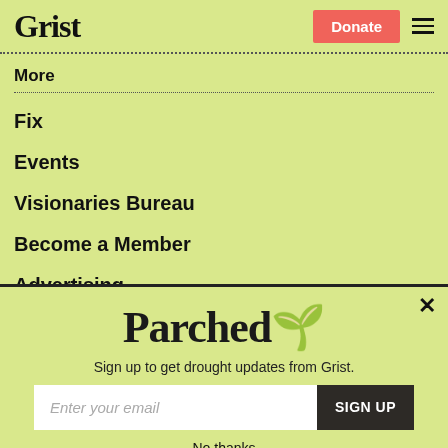Grist | Donate
More
Fix
Events
Visionaries Bureau
Become a Member
Advertising
Republish
[Figure (screenshot): Parched newsletter signup popup with email input and SIGN UP button]
Sign up to get drought updates from Grist.
No thanks